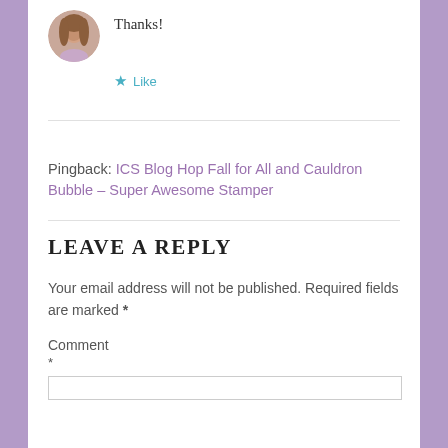[Figure (photo): Circular avatar photo of a woman with long brown hair]
Thanks!
★ Like
Pingback: ICS Blog Hop Fall for All and Cauldron Bubble – Super Awesome Stamper
LEAVE A REPLY
Your email address will not be published. Required fields are marked *
Comment
*